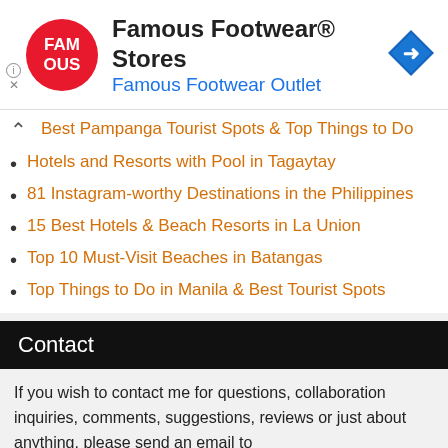[Figure (logo): Famous Footwear advertisement banner with circular red FAM OUS logo, text 'Famous Footwear® Stores' and 'Famous Footwear Outlet' in blue, and a blue diamond navigation arrow icon on the right]
Best Pampanga Tourist Spots & Top Things to Do
Hotels and Resorts with Pool in Tagaytay
81 Instagram-worthy Destinations in the Philippines
15 Best Hotels & Beach Resorts in La Union
Top 10 Must-Visit Beaches in Batangas
Top Things to Do in Manila & Best Tourist Spots
Contact
If you wish to contact me for questions, collaboration inquiries, comments, suggestions, reviews or just about anything, please send an email to mervin@pinoyadventurista.com. I will try my best to reply quickly! Unless, of course, I'm on a trip! :D